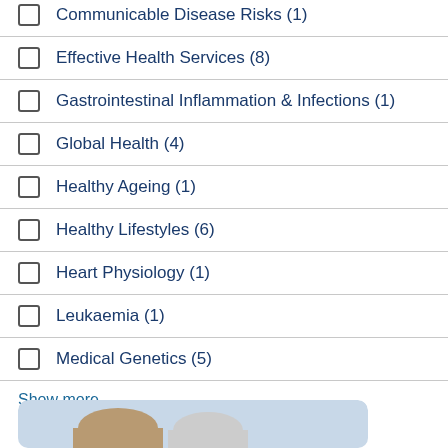Communicable Disease Risks (1)
Effective Health Services (8)
Gastrointestinal Inflammation & Infections (1)
Global Health (4)
Healthy Ageing (1)
Healthy Lifestyles (6)
Heart Physiology (1)
Leukaemia (1)
Medical Genetics (5)
Show more
[Figure (photo): Partial view of a person at the bottom of the page]